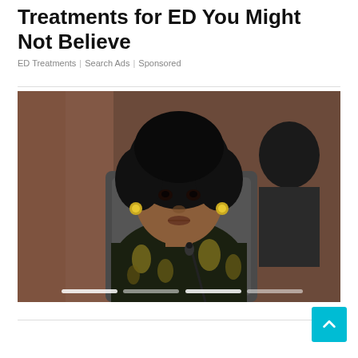Treatments for ED You Might Not Believe
ED Treatments | Search Ads | Sponsored
[Figure (photo): A woman with a natural afro hairstyle and gold hoop earrings, wearing a dark floral-print top, seated in a gray office chair, speaking into a microphone at what appears to be an official hearing or meeting. A man in a suit is partially visible in the background. Slideshow indicators appear at the bottom of the image.]